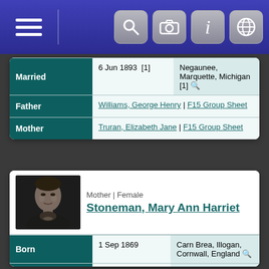Navigation bar with menu and icons
| Field | Date | Location |
| --- | --- | --- |
| Married | 6 Jun 1893  [1] | Negaunee, Marquette, Michigan  [1] |
| Father | Williams, George Henry | F15 Group Sheet |  |
| Mother | Truran, Elizabeth Jane | F15 Group Sheet |  |
Mother | Female
Stoneman, Mary Ann Harriet
[Figure (photo): Black and white portrait photo of Mary Ann Harriet Stoneman]
| Field | Date | Location |
| --- | --- | --- |
| Born | 1 Sep 1869 | Carn Brea, Illogan, Cornwall, England |
| Died | 16 Mar 1947 | Negaunee, Marquette, Michigan |
| Buried | 19 Mar 1947 | Negaunee, Marquette, Michigan |
| Father | Stoneman, Nicholas Houghton | F16 Group Sheet |  |
| Mother | Richards, Mary Ann Harriet | F16 Group Sheet |  |